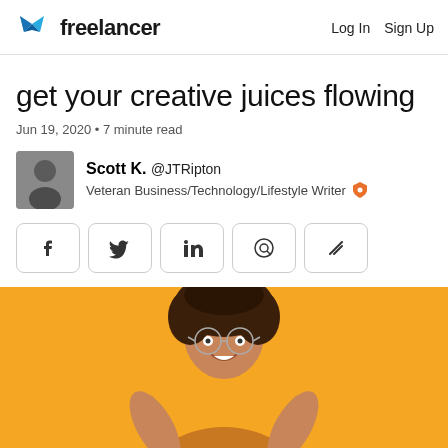Freelancer | Log In | Sign Up
get your creative juices flowing
Jun 19, 2020 • 7 minute read
Scott K. @JTRipton
Veteran Business/Technology/Lifestyle Writer
[Figure (screenshot): Social share buttons: Facebook, Twitter, LinkedIn, Pinterest, and a diagonal lines icon]
[Figure (photo): Woman with curly hair and round glasses on a yellow/orange background, looking excited with hands raised]